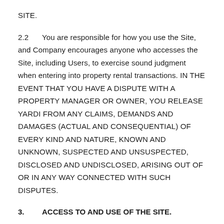SITE.
2.2	You are responsible for how you use the Site, and Company encourages anyone who accesses the Site, including Users, to exercise sound judgment when entering into property rental transactions. IN THE EVENT THAT YOU HAVE A DISPUTE WITH A PROPERTY MANAGER OR OWNER, YOU RELEASE YARDI FROM ANY CLAIMS, DEMANDS AND DAMAGES (ACTUAL AND CONSEQUENTIAL) OF EVERY KIND AND NATURE, KNOWN AND UNKNOWN, SUSPECTED AND UNSUSPECTED, DISCLOSED AND UNDISCLOSED, ARISING OUT OF OR IN ANY WAY CONNECTED WITH SUCH DISPUTES.
3.	ACCESS TO AND USE OF THE SITE.